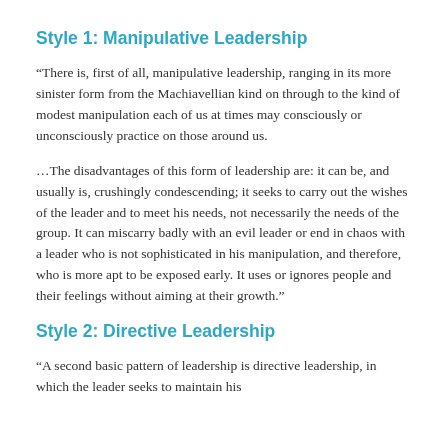Style 1: Manipulative Leadership
“There is, first of all, manipulative leadership, ranging in its more sinister form from the Machiavellian kind on through to the kind of modest manipulation each of us at times may consciously or unconsciously practice on those around us.
…The disadvantages of this form of leadership are: it can be, and usually is, crushingly condescending; it seeks to carry out the wishes of the leader and to meet his needs, not necessarily the needs of the group. It can miscarry badly with an evil leader or end in chaos with a leader who is not sophisticated in his manipulation, and therefore, who is more apt to be exposed early. It uses or ignores people and their feelings without aiming at their growth.”
Style 2: Directive Leadership
“A second basic pattern of leadership is directive leadership, in which the leader seeks to maintain his